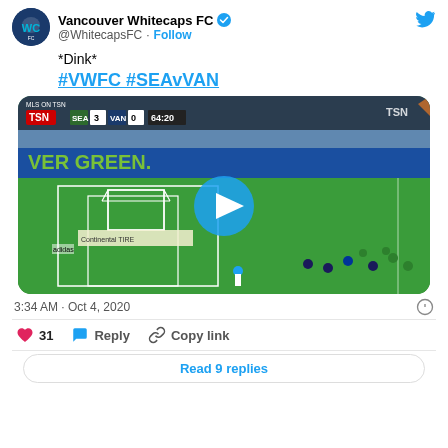Vancouver Whitecaps FC @WhitecapsFC · Follow
*Dink*
#VWFC #SEAvVAN
[Figure (screenshot): Soccer match video thumbnail showing MLS on TSN broadcast. Score: SEA 3 - VAN 0, time 64:20. Field view with goal and players. Play button overlay. Scoreboard with TSN and MLS logos. Advertising hoardings showing 'EVER GREEN' and 'Continental Tire'.]
3:34 AM · Oct 4, 2020
31  Reply  Copy link
Read 9 replies